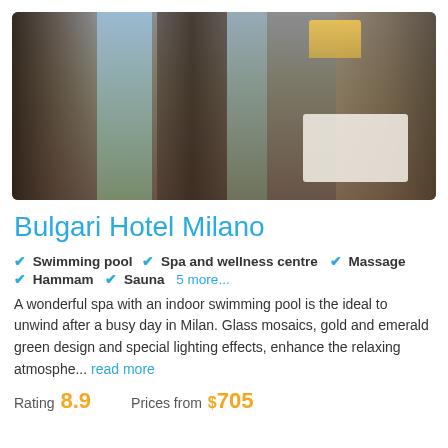[Figure (photo): Hotel room interior photo showing curtained windows with city view, a lamp, and bed area at Bulgari Hotel Milano]
Bulgari Hotel Milano
Swimming pool
Spa and wellness centre
Massage
Hammam
Sauna
5 more...
A wonderful spa with an indoor swimming pool is the ideal to unwind after a busy day in Milan. Glass mosaics, gold and emerald green design and special lighting effects, enhance the relaxing atmosphe... read more
Rating 8.9   Prices from $705